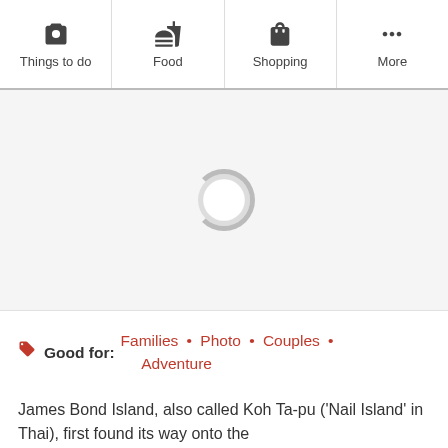Things to do | Food | Shopping | More
[Figure (screenshot): Map loading area with a spinning loading indicator circle in the center on a light grey background]
Good for: Families • Photo • Couples • Adventure
James Bond Island, also called Koh Ta-pu ('Nail Island' in Thai), first found its way onto the